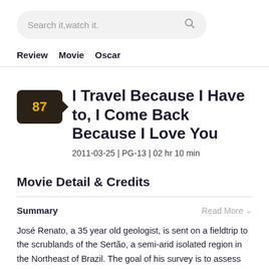Search it,watch it.
Review   Movie   Oscar
I Travel Because I Have to, I Come Back Because I Love You
2011-03-25 | PG-13 | 02 hr 10 min
Movie Detail & Credits
Summary
José Renato, a 35 year old geologist, is sent on a fieldtrip to the scrublands of the Sertão, a semi-arid isolated region in the Northeast of Brazil. The goal of his survey is to assess possible…